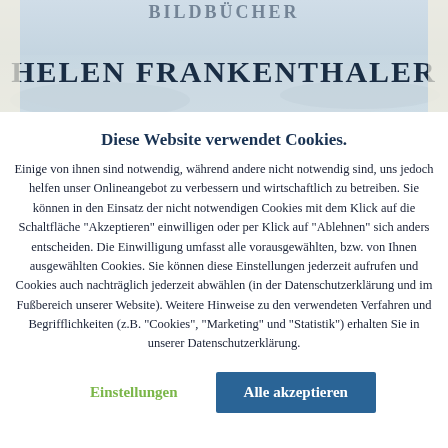[Figure (illustration): Book cover or artwork showing 'HELEN FRANKENTHALER' text in dark serif letters over a snowy/icy landscape background with partial text above]
Diese Website verwendet Cookies.
Einige von ihnen sind notwendig, während andere nicht notwendig sind, uns jedoch helfen unser Onlineangebot zu verbessern und wirtschaftlich zu betreiben. Sie können in den Einsatz der nicht notwendigen Cookies mit dem Klick auf die Schaltfläche "Akzeptieren" einwilligen oder per Klick auf "Ablehnen" sich anders entscheiden. Die Einwilligung umfasst alle vorausgewählten, bzw. von Ihnen ausgewählten Cookies. Sie können diese Einstellungen jederzeit aufrufen und Cookies auch nachträglich jederzeit abwählen (in der Datenschutzerklärung und im Fußbereich unserer Website). Weitere Hinweise zu den verwendeten Verfahren und Begrifflichkeiten (z.B. "Cookies", "Marketing" und "Statistik") erhalten Sie in unserer Datenschutzerklärung.
Einstellungen
Alle akzeptieren